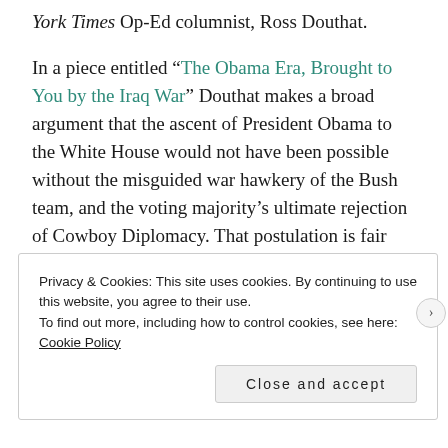York Times Op-Ed columnist, Ross Douthat.
In a piece entitled “The Obama Era, Brought to You by the Iraq War” Douthat makes a broad argument that the ascent of President Obama to the White House would not have been possible without the misguided war hawkery of the Bush team, and the voting majority’s ultimate rejection of Cowboy Diplomacy. That postulation is fair enough.
Privacy & Cookies: This site uses cookies. By continuing to use this website, you agree to their use.
To find out more, including how to control cookies, see here: Cookie Policy
Close and accept